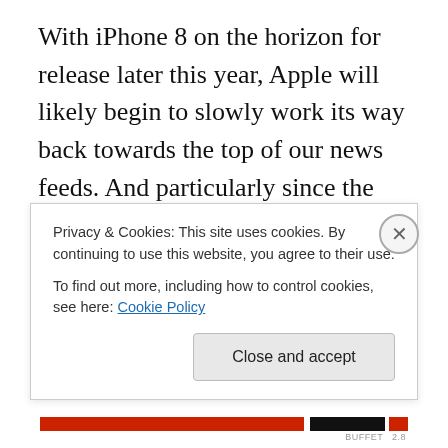With iPhone 8 on the horizon for release later this year, Apple will likely begin to slowly work its way back towards the top of our news feeds. And particularly since the iPhone 8 will be the 10th anniversary iPhone, the speculation (never-ending with Apple products) concerning this forthcoming version of the globally popular mobile device is focused on a wide variety of game-changing features for an Apple phone. This includes rumors of a borderless screen, wireless charging and the potential removal of the physical home button (not the home button feature, but just the actual button).
Privacy & Cookies: This site uses cookies. By continuing to use this website, you agree to their use.
To find out more, including how to control cookies, see here: Cookie Policy